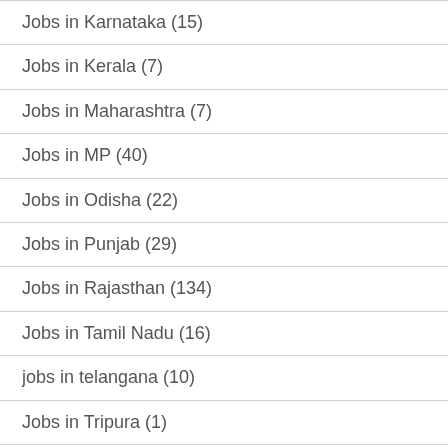Jobs in Karnataka (15)
Jobs in Kerala (7)
Jobs in Maharashtra (7)
Jobs in MP (40)
Jobs in Odisha (22)
Jobs in Punjab (29)
Jobs in Rajasthan (134)
Jobs in Tamil Nadu (16)
jobs in telangana (10)
Jobs in Tripura (1)
Jobs in UK (27)
Jobs in UP (130)
Jobs in WB (4)